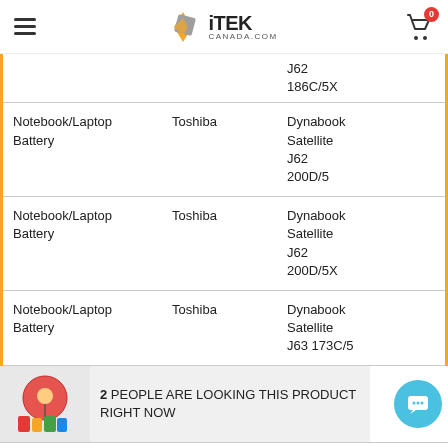iTEK CANADA.COM — navigation header with hamburger menu and cart (0 items)
| Category | Brand | Model |
| --- | --- | --- |
|  |  | J62 186C/5X |
| Notebook/Laptop Battery | Toshiba | Dynabook Satellite J62 200D/5 |
| Notebook/Laptop Battery | Toshiba | Dynabook Satellite J62 200D/5X |
| Notebook/Laptop Battery | Toshiba | Dynabook Satellite J63 173C/5 |
| Notebook/Laptop Battery | Toshiba | Dynabook Satellite J63... |
2 PEOPLE ARE LOOKING THIS PRODUCT RIGHT NOW
1 / Pack – $79.95   Add to cart